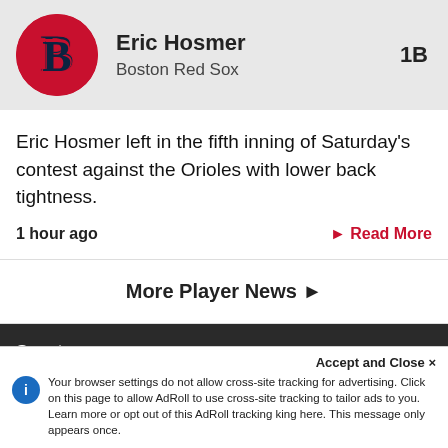[Figure (logo): Boston Red Sox logo — red circle with stylized 'B' in navy and red]
Eric Hosmer
Boston Red Sox
1B
Eric Hosmer left in the fifth inning of Saturday's contest against the Orioles with lower back tightness.
1 hour ago
▶ Read More
More Player News ▶
Sports:
Fantasy Football
Fantasy Baseball
Fantasy Basketball
Accept and Close ✕
Your browser settings do not allow cross-site tracking for advertising. Click on this page to allow AdRoll to use cross-site tracking to tailor ads to you. Learn more or opt out of this AdRoll tracking king here. This message only appears once.